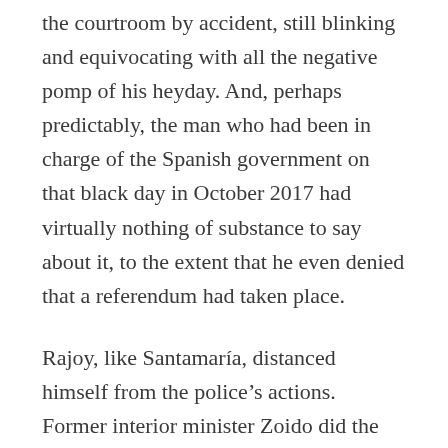the courtroom by accident, still blinking and equivocating with all the negative pomp of his heyday. And, perhaps predictably, the man who had been in charge of the Spanish government on that black day in October 2017 had virtually nothing of substance to say about it, to the extent that he even denied that a referendum had taken place.
Rajoy, like Santamaría, distanced himself from the police's actions. Former interior minister Zoido did the same, albeit with all the composure of a bumbling, boozed-up relative at the Christmas table. The police, not ministers, oversaw such matters, was his argument, as he repeated the phrase “I don’t remember” over and over again. Did this man really once hold one of the